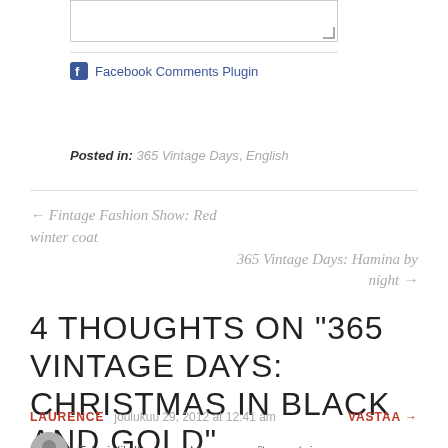Facebook Comments Plugin
Posted in: 365 Vintage Days, English
← Fintage Fashion Show: Red winter coat
365 Vintage Days: Hamina by night →
4 THOUGHTS ON "365 VINTAGE DAYS: CHRISTMAS IN BLACK AND GOLD"
LAURENCE   joulukuu 29, 2012 at 12:41 am   VASTAA →
Très jolib Il me semble reconnaître certaines...